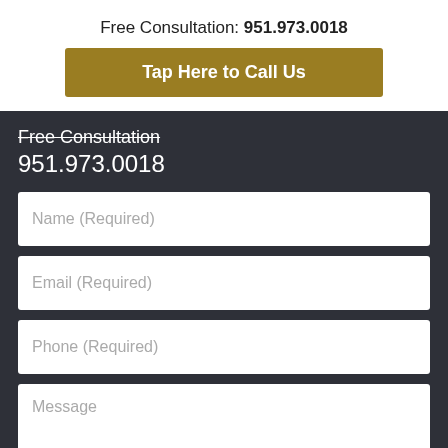Free Consultation: 951.973.0018
Tap Here to Call Us
Free Consultation
951.973.0018
Name (Required)
Email (Required)
Phone (Required)
Message